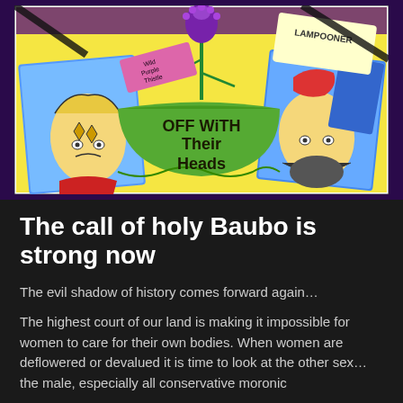[Figure (illustration): Hand-drawn illustration showing two upside-down faces on the sides, a green banner in the middle reading 'OFF WITH Their Heads', a purple thistle flower at the top center labeled 'Wild Purple Thistle', and a card reading 'LAMPOONER' in the upper right. Yellow background with colorful hand-drawn style.]
The call of holy Baubo is strong now
The evil shadow of history comes forward again…
The highest court of our land is making it impossible for women to care for their own bodies. When women are deflowered or devalued it is time to look at the other sex… the male, especially all conservative moronic